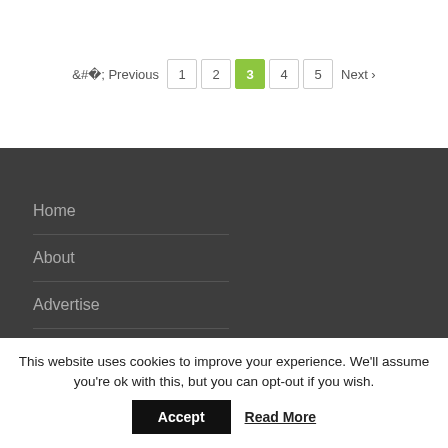< Previous  1  2  3  4  5  Next >
Home
About
Advertise
Contact
This website uses cookies to improve your experience. We'll assume you're ok with this, but you can opt-out if you wish.
Accept  Read More